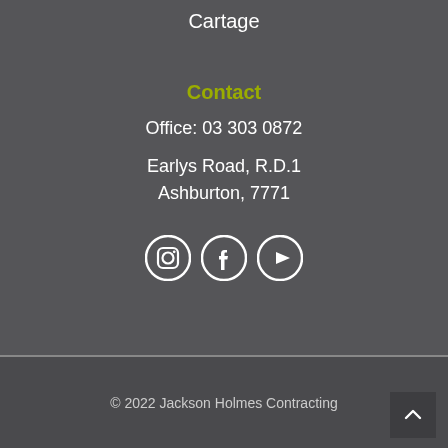Cartage
Contact
Office: 03 303 0872
Earlys Road, R.D.1
Ashburton, 7771
[Figure (illustration): Three social media icons: Instagram, Facebook, YouTube]
© 2022 Jackson Holmes Contracting